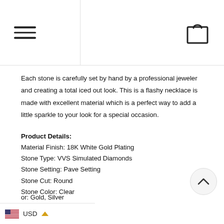Navigation bar with hamburger menu and shopping bag icon
Each stone is carefully set by hand by a professional jeweler and creating a total iced out look. This is a flashy necklace is made with excellent material which is a perfect way to add a little sparkle to your look for a special occasion.
Product Details:
Material Finish: 18K White Gold Plating
Stone Type: VVS Simulated Diamonds
Stone Setting: Pave Setting
Stone Cut: Round
Stone Color: Clear
or: Gold, Silver
USD